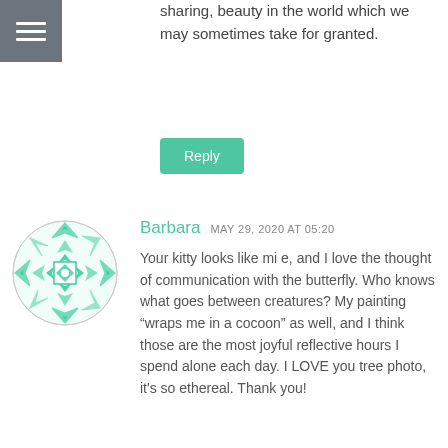[Figure (logo): Hamburger menu icon - three horizontal white lines on a dark grey square background]
sharing, beauty in the world which we may sometimes take for granted.
Reply
[Figure (illustration): User avatar - circular decorative geometric pattern in green/teal and white, resembling a mandala or quilt pattern]
Barbara MAY 29, 2020 AT 05:20
Your kitty looks like mi e, and I love the thought of communication with the butterfly. Who knows what goes between creatures? My painting “wraps me in a cocoon” as well, and I think those are the most joyful reflective hours I spend alone each day. I LOVE you tree photo, it's so ethereal. Thank you!